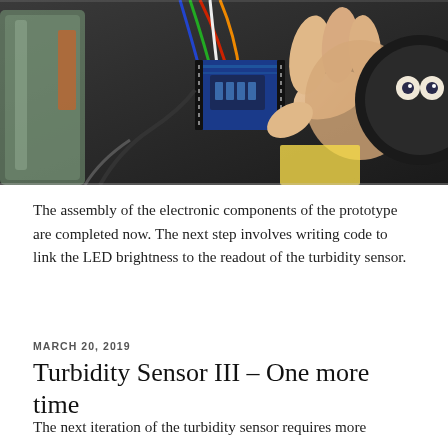[Figure (photo): A person holding a small blue ESP8266/NodeMCU microcontroller board with wires attached, positioned above a dark surface with electronic components. A glass jar is visible on the left side.]
The assembly of the electronic components of the prototype are completed now. The next step involves writing code to link the LED brightness to the readout of the turbidity sensor.
MARCH 20, 2019
Turbidity Sensor III – One more time
The next iteration of the turbidity sensor requires more